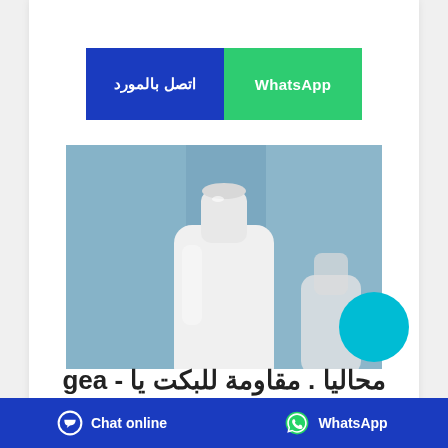[Figure (other): Two buttons side by side: green WhatsApp button on left, blue contact button (اتصل بالمورد) on right]
[Figure (photo): Close-up photo of a white plastic bottle/container against a blue background]
محاليا . مقاومة للبكت يا - gea
Chat online | WhatsApp